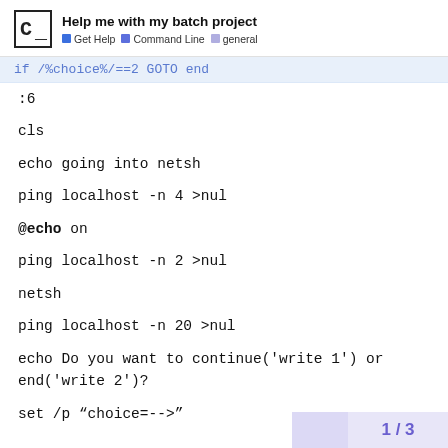Help me with my batch project | Get Help | Command Line | general
if /%choice%/==2 GOTO end
:6
cls
echo going into netsh
ping localhost -n 4 >nul
@echo on
ping localhost -n 2 >nul
netsh
ping localhost -n 20 >nul
echo Do you want to continue('write 1') or end('write 2')?
set /p "choice=-->"
1 / 3